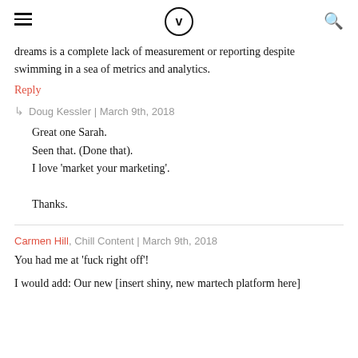[Hamburger menu] [Velocity logo] [Search icon]
dreams is a complete lack of measurement or reporting despite swimming in a sea of metrics and analytics.
Reply
↳ Doug Kessler | March 9th, 2018
Great one Sarah.
Seen that. (Done that).
I love 'market your marketing'.

Thanks.
Carmen Hill, Chill Content | March 9th, 2018
You had me at 'fuck right off'!
I would add: Our new [insert shiny, new martech platform here]